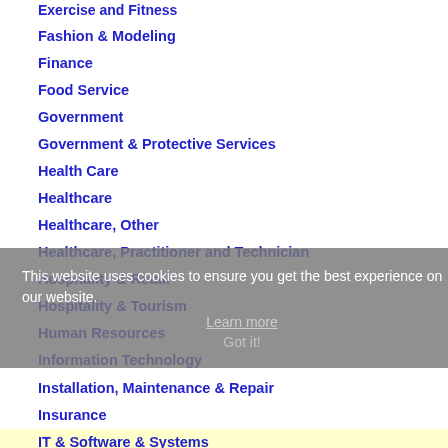Exercise and Fitness
Fashion & Modeling
Finance
Food Service
Government
Government & Protective Services
Health Care
Healthcare
Healthcare, Other
Healthcare, Practitioner and Technician
Hospitality & Retail
Hospitality & Tourism
Human Resources
Information Technology
Installation, Maintenance & Repair
Insurance
IT & Software & Systems
Journalism & Writing & Editing
Labor
Labor & Trades
This website uses cookies to ensure you get the best experience on our website.
Learn more
Got it!